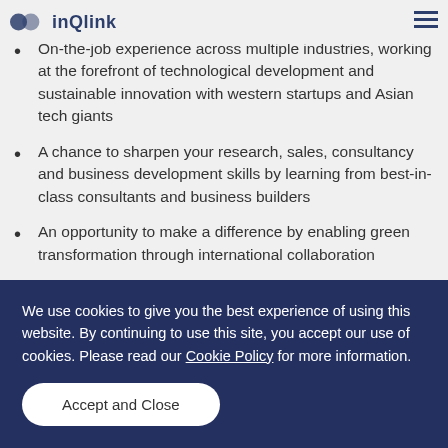inQlink
Opportunities for growth and advancement within the company
On-the-job experience across multiple industries, working at the forefront of technological development and sustainable innovation with western startups and Asian tech giants
A chance to sharpen your research, sales, consultancy and business development skills by learning from best-in-class consultants and business builders
An opportunity to make a difference by enabling green transformation through international collaboration
What you'll need
We use cookies to give you the best experience of using this website. By continuing to use this site, you accept our use of cookies. Please read our Cookie Policy for more information.